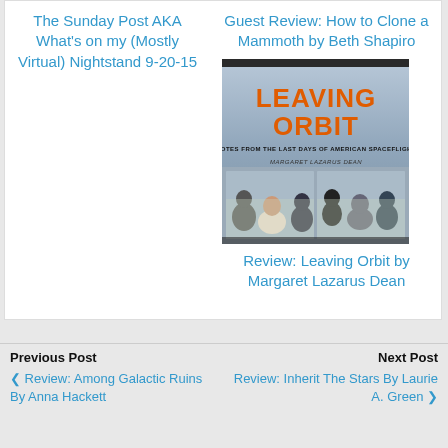The Sunday Post AKA What's on my (Mostly Virtual) Nightstand 9-20-15
Guest Review: How to Clone a Mammoth by Beth Shapiro
[Figure (photo): Book cover of 'Leaving Orbit: Notes from the Last Days of American Spaceflight' by Margaret Lazarus Dean. Orange bold title text at top, subtitle below, author name, and background image of people looking out a window at a launch.]
Review: Leaving Orbit by Margaret Lazarus Dean
Previous Post
❮ Review: Among Galactic Ruins By Anna Hackett
Next Post
Review: Inherit The Stars By Laurie A. Green ❯